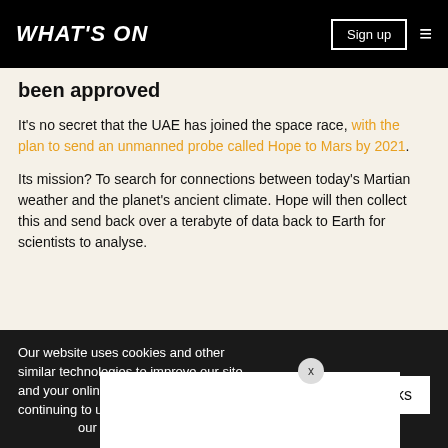WHAT'S ON
been approved
It's no secret that the UAE has joined the space race, with the plan to send an unmanned probe called Hope to Mars by 2021.
Its mission? To search for connections between today's Martian weather and the planet's ancient climate. Hope will then collect this and send back over a terabyte of data back to Earth for scientists to analyse.
Our website uses cookies and other similar technologies to improve our site and your online experience. By continuing to use our website you consen... our pri...